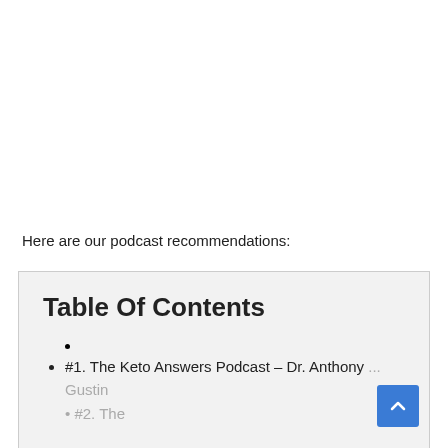Here are our podcast recommendations:
Table Of Contents
#1. The Keto Answers Podcast – Dr. Anthony Gustin
#2. The [partial, cut off]